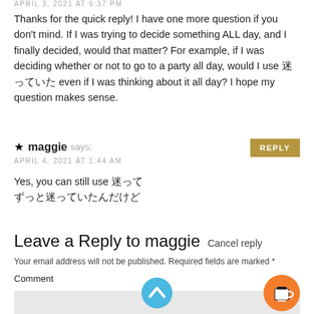APRIL 3, 2021 AT 6:37 PM
Thanks for the quick reply! I have one more question if you don't mind. If I was trying to decide something ALL day, and I finally decided, would that matter? For example, if I was deciding whether or not to go to a party all day, would I use 迷っていた even if I was thinking about it all day? I hope my question makes sense.
★ maggie says:
APRIL 4, 2021 AT 1:44 AM
Yes, you can still use 迷って
ずっと迷っていたんだけど
Leave a Reply to maggie Cancel reply
Your email address will not be published. Required fields are marked *
Comment
[Figure (illustration): Blue circular scroll-to-top button with upward chevron icon]
[Figure (illustration): Orange circular coffee cup button]